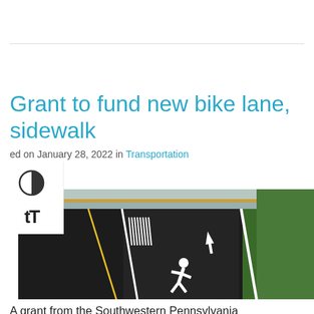Grant to fund new bike lane, sidewalk
Posted on January 28, 2022 in Transportation
[Figure (photo): Aerial/ground-level view of a road with painted white bike lane markings including a cyclist symbol and directional arrows. Green grass is visible on the right side.]
A grant from the Southwestern Pennsylvania Commission will provide $450,492 in funding for a